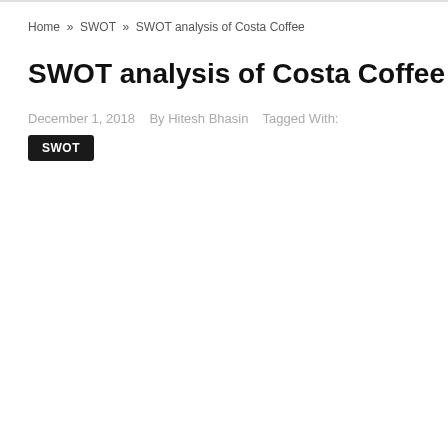Home » SWOT » SWOT analysis of Costa Coffee
SWOT analysis of Costa Coffee
December 1, 2018   By Hitesh Bhasin   Tagged With:
SWOT